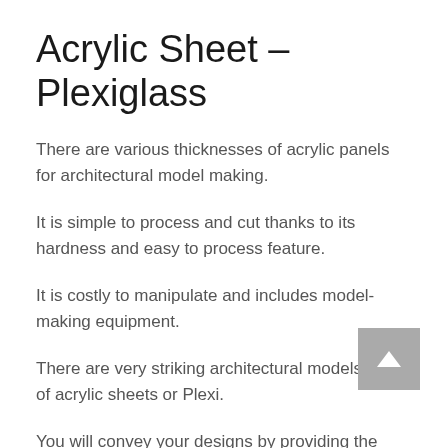Acrylic Sheet – Plexiglass
There are various thicknesses of acrylic panels for architectural model making.
It is simple to process and cut thanks to its hardness and easy to process feature.
It is costly to manipulate and includes model-making equipment.
There are very striking architectural models made of acrylic sheets or Plexi.
You will convey your designs by providing the